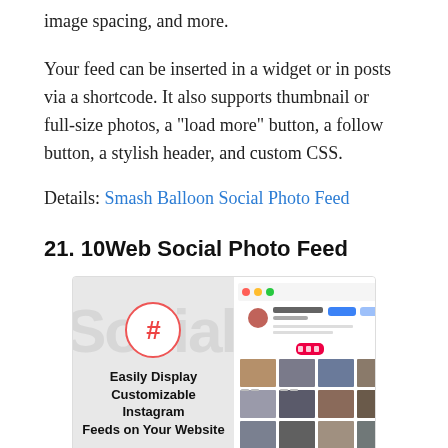image spacing, and more.
Your feed can be inserted in a widget or in posts via a shortcode. It also supports thumbnail or full-size photos, a “load more” button, a follow button, a stylish header, and custom CSS.
Details: Smash Balloon Social Photo Feed
21. 10Web Social Photo Feed
[Figure (screenshot): Screenshot of 10Web Social Photo Feed plugin showing a hashtag symbol in a circle, bold text 'Easily Display Customizable Instagram Feeds on Your Website', and a mock-up of an Instagram feed grid on the right side. Footer shows plugin name and Download button.]